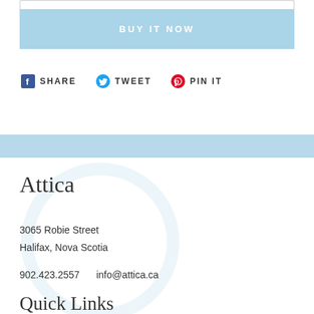BUY IT NOW
SHARE  TWEET  PIN IT
Attica
3065 Robie Street
Halifax, Nova Scotia
902.423.2557   info@attica.ca
Quick Links